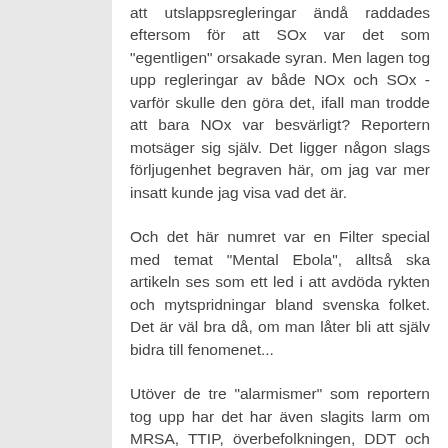att utslappsregleringar ändå raddades eftersom för att SOx var det som "egentligen" orsakade syran. Men lagen tog upp regleringar av både NOx och SOx - varför skulle den göra det, ifall man trodde att bara NOx var besvärligt? Reportern motsäger sig själv. Det ligger någon slags förljugenhet begraven här, om jag var mer insatt kunde jag visa vad det är.
Och det här numret var en Filter special med temat "Mental Ebola", alltså ska artikeln ses som ett led i att avdöda rykten och mytspridningar bland svenska folket. Det är väl bra då, om man låter bli att själv bidra till fenomenet...
Utöver de tre "alarmismer" som reportern tog upp har det har även slagits larm om MRSA, TTIP, överbefolkningen, DDT och så vidare. Vilket leder till frågan, vad är skillnaden mellan alarmism och att slå larm? Och om man som forskare upptäcker fara å färde, är det inte då ens förbannade plikt att faktiskt slå larm!!? Ordet påminner väldigt mycket om ordet populism (jag